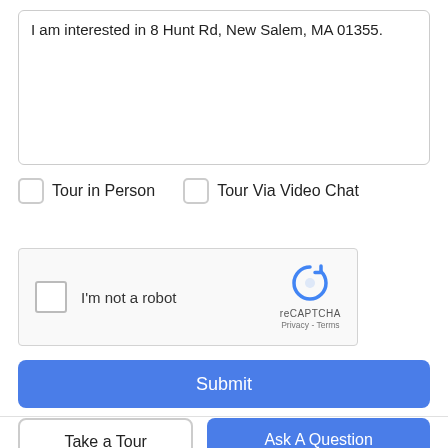I am interested in 8 Hunt Rd, New Salem, MA 01355.
Tour in Person
Tour Via Video Chat
[Figure (screenshot): reCAPTCHA widget with checkbox labeled I'm not a robot and reCAPTCHA logo with Privacy and Terms links]
Submit
Take a Tour
Ask A Question